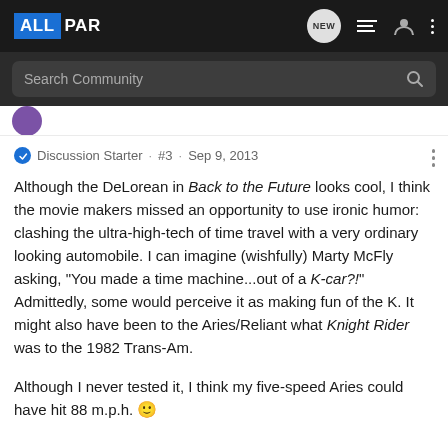ALLPAR
Search Community
Discussion Starter · #3 · Sep 9, 2013
Although the DeLorean in Back to the Future looks cool, I think the movie makers missed an opportunity to use ironic humor: clashing the ultra-high-tech of time travel with a very ordinary looking automobile. I can imagine (wishfully) Marty McFly asking, "You made a time machine...out of a K-car?!" Admittedly, some would perceive it as making fun of the K. It might also have been to the Aries/Reliant what Knight Rider was to the 1982 Trans-Am.

Although I never tested it, I think my five-speed Aries could have hit 88 m.p.h. 🙂